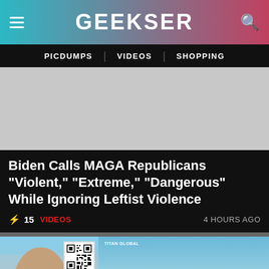GEEKSER
PICDUMPS | VIDEOS | SHOPPING
[Figure (photo): Advertisement placeholder area, gray background]
Biden Calls MAGA Republicans "Violent," "Extreme," "Dangerous" While Ignoring Leftist Violence
⚡ 15  VIDEOS   4 HOURS AGO
[Figure (photo): Two video thumbnails: left shows a man's face with QR code overlay; right shows solar panels with play button overlay and label TITAN GLOBAL]